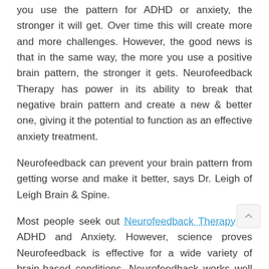you use the pattern for ADHD or anxiety, the stronger it will get. Over time this will create more and more challenges. However, the good news is that in the same way, the more you use a positive brain pattern, the stronger it gets. Neurofeedback Therapy has power in its ability to break that negative brain pattern and create a new & better one, giving it the potential to function as an effective anxiety treatment.
Neurofeedback can prevent your brain pattern from getting worse and make it better, says Dr. Leigh of Leigh Brain & Spine.
Most people seek out Neurofeedback Therapy for ADHD and Anxiety. However, science proves Neurofeedback is effective for a wide variety of brain-based conditions. Neurofeedback works well for trauma, PTSD, concussion, sensory processing disorders, tinnitus, pain and other learning challenges.
If you live near the Chapel Hill, NC area and are ready to